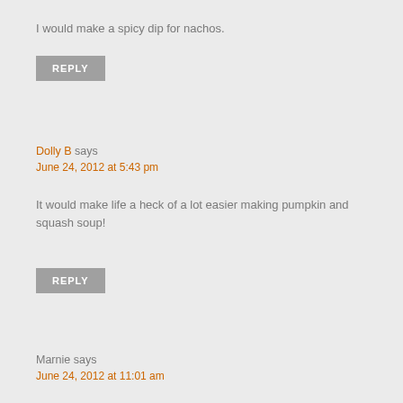I would make a spicy dip for nachos.
REPLY
Dolly B says
June 24, 2012 at 5:43 pm
It would make life a heck of a lot easier making pumpkin and squash soup!
REPLY
Marnie says
June 24, 2012 at 11:01 am